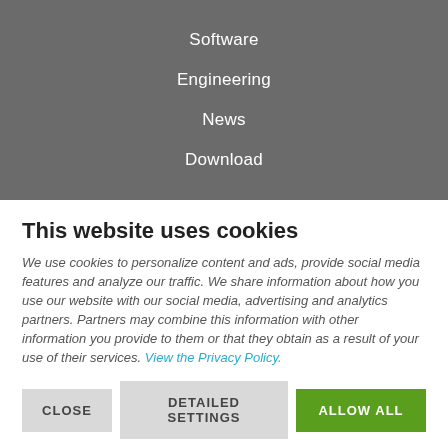Software
Engineering
News
Download
This website uses cookies
We use cookies to personalize content and ads, provide social media features and analyze our traffic. We share information about how you use our website with our social media, advertising and analytics partners. Partners may combine this information with other information you provide to them or that they obtain as a result of your use of their services. View the Privacy Policy.
CLOSE
DETAILED SETTINGS
ALLOW ALL